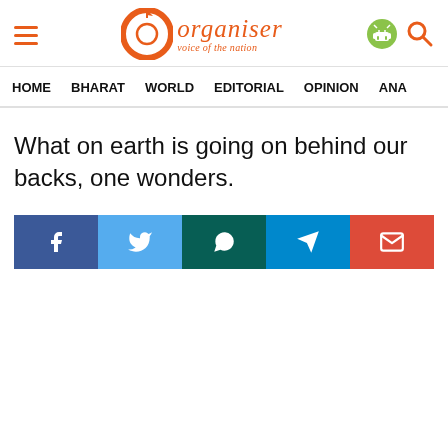Organiser — voice of the nation
HOME  BHARAT  WORLD  EDITORIAL  OPINION  ANA…
What on earth is going on behind our backs, one wonders.
[Figure (infographic): Social share buttons: Facebook, Twitter, WhatsApp, Telegram, Email]